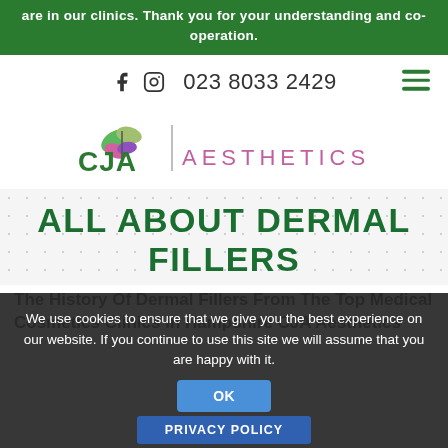are in our clinics. Thank you for your understanding and co-operation.
f  (instagram icon)  023 8033 2429
[Figure (logo): CJA Aesthetics logo with butterfly graphic and vertical divider]
ALL ABOUT DERMAL FILLERS
The History Of Dermal Fillers From The Top Medical Cosmetics Clinics in Hampshire CJA Aesthetics
We use cookies to ensure that we give you the best experience on our website. If you continue to use this site we will assume that you are happy with it.